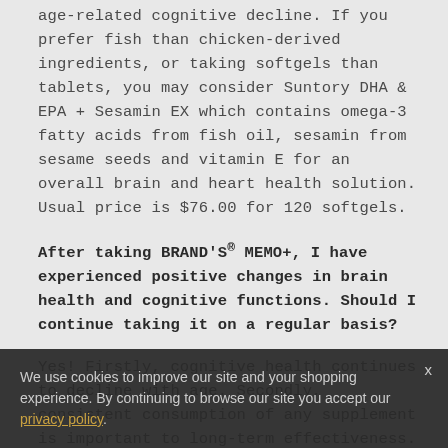age-related cognitive decline. If you prefer fish than chicken-derived ingredients, or taking softgels than tablets, you may consider Suntory DHA & EPA + Sesamin EX which contains omega-3 fatty acids from fish oil, sesamin from sesame seeds and vitamin E for an overall brain and heart health solution. Usual price is $76.00 for 120 softgels.
After taking BRAND'S® MEMO+, I have experienced positive changes in brain health and cognitive functions. Should I continue taking it on a regular basis?
Yes! Firstly, cognitive health continues to decline with age. Secondly, consistent consumption of any supplement is important to long-term effectiveness. We recommend continued consumption of BRAND'S® MEMO+ daily to reap the most out of your investment in health. You can also consider auto-replenishment for
We use cookies to improve our site and your shopping experience. By continuing to browse our site you accept our privacy policy.